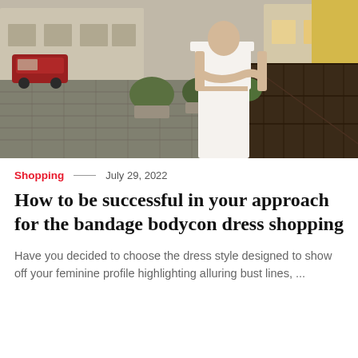[Figure (photo): A woman wearing a white off-shoulder bandage bodycon two-piece dress (crop top and fitted skirt) standing on a cobblestone street in front of European-style buildings. There are round planters with green bushes, a red car visible on the left, and a dark wooden fence/barrier on the right.]
Shopping — July 29, 2022
How to be successful in your approach for the bandage bodycon dress shopping
Have you decided to choose the dress style designed to show off your feminine profile highlighting alluring bust lines, ...